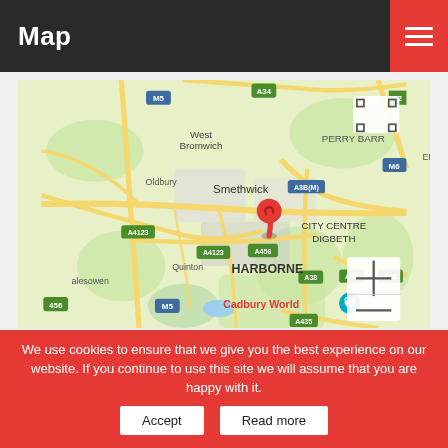Map
[Figure (map): Google Maps screenshot showing Birmingham area, UK. Locations visible include West Bromwich, Oldbury, Smethwick, Perry Barr, Erdington, City Centre, Digbeth, Harborne, Quinton, Halesowen, Cadbury World. Road labels include M5, M6, A34, A4123, A3B(M), A456, A38, A435, A34. A red location pin is placed near the city centre/Smethwick area. Map controls include a fullscreen button (top right) and zoom +/- buttons (bottom right).]
We use cookies to ensure that we give you the best experience on our website. If you continue to use this site we will assume that you are happy with it.